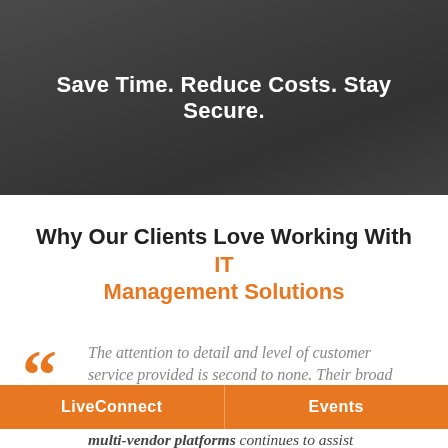[Figure (photo): Dark hero background image of a hat with overlay]
Save Time. Reduce Costs. Stay Secure.
Why Our Clients Love Working With IT Management Solutions
The attention to detail and level of customer service provided is second to none. Their broad multi-vendor platforms continues to assist Mainstream Global's expansion domestically and throughout Latin America. I would highly recommend ITMS.
LiveConnect | Events